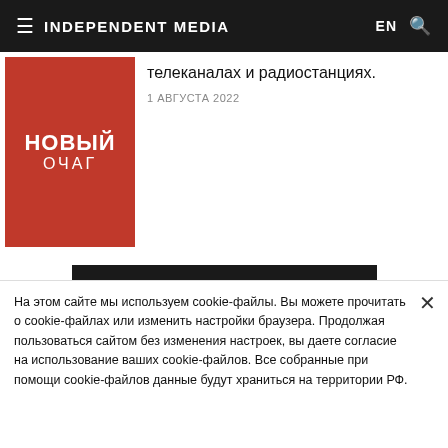INDEPENDENT MEDIA
[Figure (logo): НОВЫЙ ОЧАГ red logo thumbnail]
телеканалах и радиостанциях.
1 АВГУСТА 2022
БОЛЬШЕ НОВОСТЕЙ
pr@imedia.ru
На этом сайте мы используем cookie-файлы. Вы можете прочитать о cookie-файлах или изменить настройки браузера. Продолжая пользоваться сайтом без изменения настроек, вы даете согласие на использование ваших cookie-файлов. Все собранные при помощи cookie-файлов данные будут храниться на территории РФ.